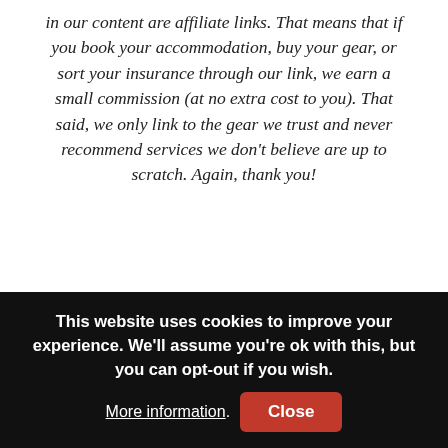in our content are affiliate links. That means that if you book your accommodation, buy your gear, or sort your insurance through our link, we earn a small commission (at no extra cost to you). That said, we only link to the gear we trust and never recommend services we don't believe are up to scratch. Again, thank you!
[Figure (photo): Dark background section with red italic bold author name 'Ana Pereira' partially visible]
This website uses cookies to improve your experience. We'll assume you're ok with this, but you can opt-out if you wish. More information. Close